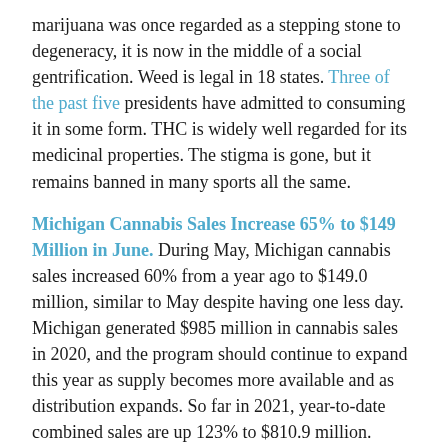marijuana was once regarded as a stepping stone to degeneracy, it is now in the middle of a social gentrification. Weed is legal in 18 states. Three of the past five presidents have admitted to consuming it in some form. THC is widely well regarded for its medicinal properties. The stigma is gone, but it remains banned in many sports all the same.
Michigan Cannabis Sales Increase 65% to $149 Million in June. During May, Michigan cannabis sales increased 60% from a year ago to $149.0 million, similar to May despite having one less day. Michigan generated $985 million in cannabis sales in 2020, and the program should continue to expand this year as supply becomes more available and as distribution expands. So far in 2021, year-to-date combined sales are up 123% to $810.9 million.